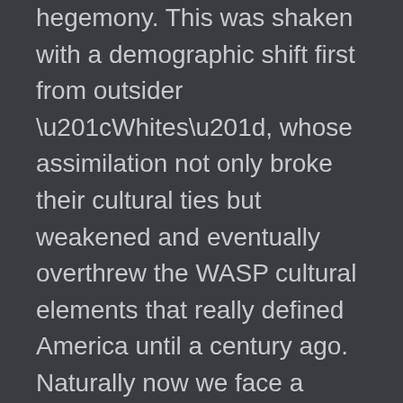hegemony. This was shaken with a demographic shift first from outsider “Whites”, whose assimilation not only broke their cultural ties but weakened and eventually overthrew the WASP cultural elements that really defined America until a century ago. Naturally now we face a project to shift the balance of power from the broad White coalition to a pitiful millet system of various displaced and deracinated ethnic groups. That would complete the transition from a first-world high trust society into a third-world one, and we can take the “Med” example of Lebanon to see what that would look like: a farcical “cross-community” coalition controlled by foreign masters over the